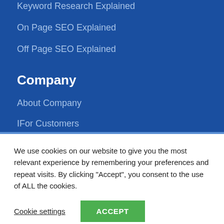Keyword Research Explained
On Page SEO Explained
Off Page SEO Explained
Company
About Company
IFor Customers
We use cookies on our website to give you the most relevant experience by remembering your preferences and repeat visits. By clicking “Accept”, you consent to the use of ALL the cookies.
Cookie settings
ACCEPT